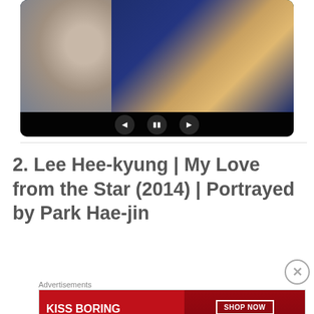[Figure (screenshot): Video player showing two people, with playback controls (back, pause, forward) at the bottom on a dark bar]
2. Lee Hee-kyung | My Love from the Star (2014) | Portrayed by Park Hae-jin
Advertisements
[Figure (screenshot): Advertisement banner: KISS BORING LIPS GOODBYE with SHOP NOW and macys logo]